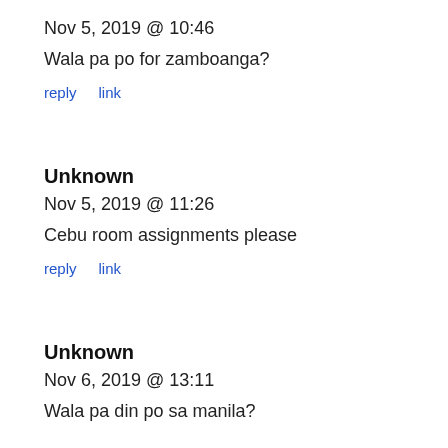Nov 5, 2019 @ 10:46
Wala pa po for zamboanga?
reply   link
Unknown
Nov 5, 2019 @ 11:26
Cebu room assignments please
reply   link
Unknown
Nov 6, 2019 @ 13:11
Wala pa din po sa manila?